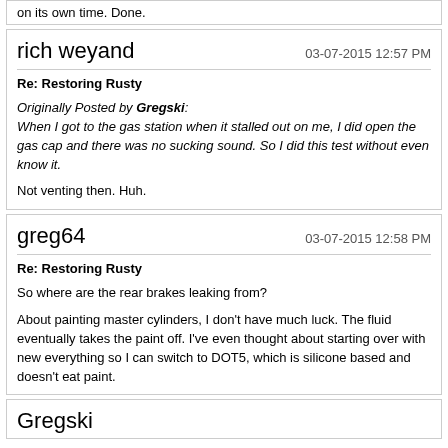on its own time. Done.
rich weyand
03-07-2015 12:57 PM
Re: Restoring Rusty
Originally Posted by Gregski: When I got to the gas station when it stalled out on me, I did open the gas cap and there was no sucking sound. So I did this test without even know it.
Not venting then. Huh.
greg64
03-07-2015 12:58 PM
Re: Restoring Rusty
So where are the rear brakes leaking from?
About painting master cylinders, I don't have much luck. The fluid eventually takes the paint off. I've even thought about starting over with new everything so I can switch to DOT5, which is silicone based and doesn't eat paint.
Gregski